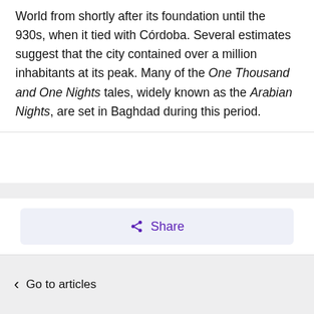World from shortly after its foundation until the 930s, when it tied with Córdoba. Several estimates suggest that the city contained over a million inhabitants at its peak. Many of the One Thousand and One Nights tales, widely known as the Arabian Nights, are set in Baghdad during this period.
[Figure (other): Share button UI element with share icon]
Go to articles